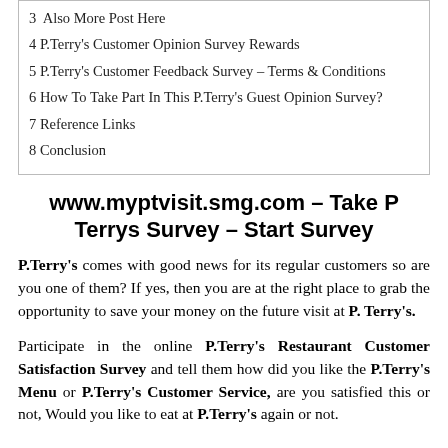3  Also More Post Here
4 P.Terry's Customer Opinion Survey Rewards
5 P.Terry's Customer Feedback Survey – Terms & Conditions
6 How To Take Part In This P.Terry's Guest Opinion Survey?
7 Reference Links
8 Conclusion
www.myptvisit.smg.com – Take P Terrys Survey – Start Survey
P.Terry's comes with good news for its regular customers so are you one of them? If yes, then you are at the right place to grab the opportunity to save your money on the future visit at P. Terry's.
Participate in the online P.Terry's Restaurant Customer Satisfaction Survey and tell them how did you like the P.Terry's Menu or P.Terry's Customer Service, are you satisfied this or not, Would you like to eat at P.Terry's again or not.